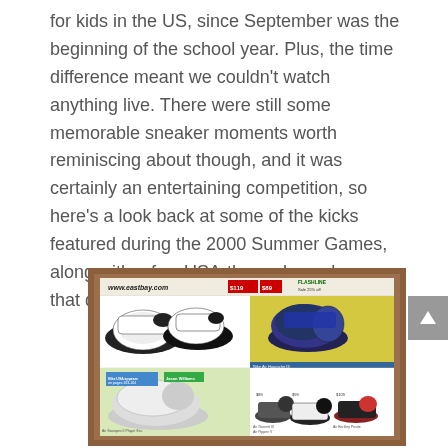for kids in the US, since September was the beginning of the school year. Plus, the time difference meant we couldn't watch anything live. There were still some memorable sneaker moments worth reminiscing about though, and it was certainly an entertaining competition, so here's a look back at some of the kicks featured during the 2000 Summer Games, along with a few USA-themed sneakers that dropped that month, as well.
[Figure (photo): A vintage Eastbay catalog page (www.eastbay.com) displayed inside a wooden frame, showing various athletic sneakers including basketball shoes and running shoes, with prices and product descriptions.]